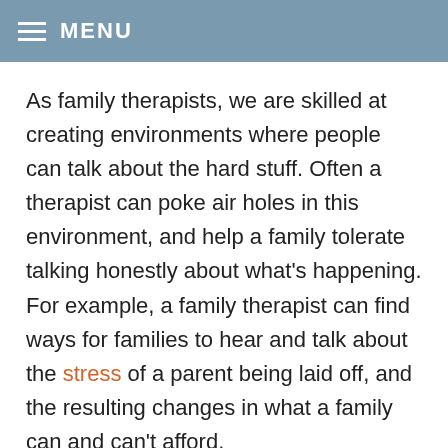≡ MENU
As family therapists, we are skilled at creating environments where people can talk about the hard stuff. Often a therapist can poke air holes in this environment, and help a family tolerate talking honestly about what's happening. For example, a family therapist can find ways for families to hear and talk about the stress of a parent being laid off, and the resulting changes in what a family can and can't afford.
from making (and sticking to) a budget to assessing